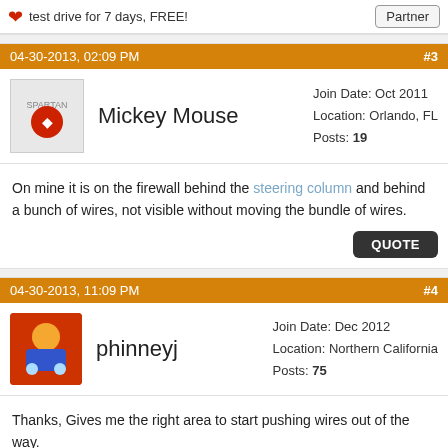test drive for 7 days, FREE! | Partner
04-30-2013, 02:09 PM #3
Mickey Mouse
Join Date: Oct 2011
Location: Orlando, FL
Posts: 19
On mine it is on the firewall behind the steering column and behind a bunch of wires, not visible without moving the bundle of wires.
QUOTE
04-30-2013, 11:09 PM #4
phinneyj
Join Date: Dec 2012
Location: Northern California
Posts: 75
Thanks, Gives me the right area to start pushing wires out of the way.
QUOTE
04-30-2013, 11:39 PM #5
Join Date: Dec 2009